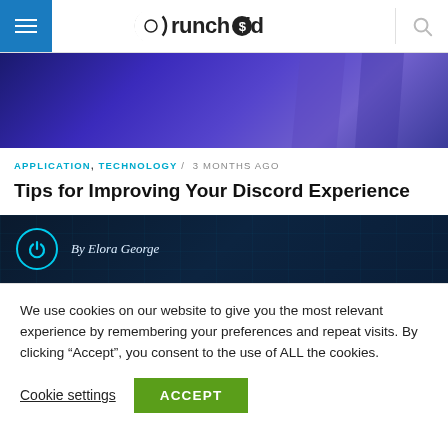Crunchoid — navigation bar with hamburger menu and search icon
[Figure (photo): Dark blue and purple toned hero image, appears to be a silhouetted figure against a blue/purple background]
APPLICATION, TECHNOLOGY / 3 MONTHS AGO
Tips for Improving Your Discord Experience
[Figure (other): Author bar with dark navy blue grid background. Power icon circle on left. Text: By Elora George]
We use cookies on our website to give you the most relevant experience by remembering your preferences and repeat visits. By clicking “Accept”, you consent to the use of ALL the cookies.
Cookie settings   ACCEPT